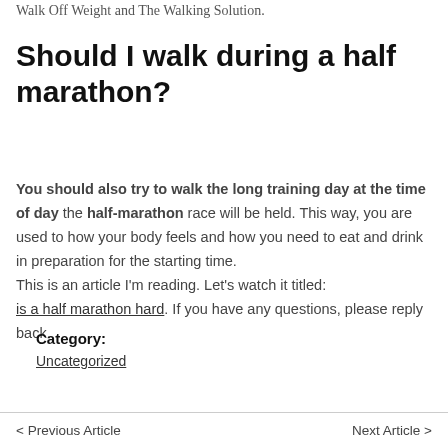Walk Off Weight and The Walking Solution.
Should I walk during a half marathon?
You should also try to walk the long training day at the time of day the half-marathon race will be held. This way, you are used to how your body feels and how you need to eat and drink in preparation for the starting time. This is an article I’m reading. Let’s watch it titled: is a half marathon hard. If you have any questions, please reply back.
Category:
Uncategorized
< Previous Article   Next Article >